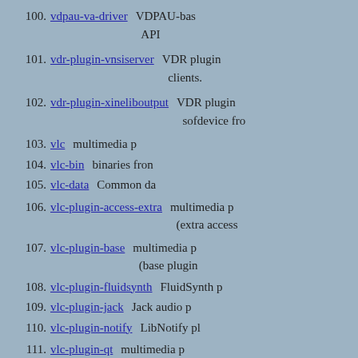100. vdpau-va-driver - VDPAU-based VA API
101. vdr-plugin-vnsiserver - VDR plugin clients.
102. vdr-plugin-xineliboutput - VDR plugin sofdevice fr
103. vlc - multimedia
104. vlc-bin - binaries from
105. vlc-data - Common da
106. vlc-plugin-access-extra - multimedia (extra access
107. vlc-plugin-base - multimedia (base plugin
108. vlc-plugin-fluidsynth - FluidSynth p
109. vlc-plugin-jack - Jack audio p
110. vlc-plugin-notify - LibNotify pl
111. vlc-plugin-qt - multimedia (Qt plugin)
112. vlc-plugin-samba - Samba plug
113. vlc-plugin-skins2 - multimedia (Skins2 plug
114. vlc-...